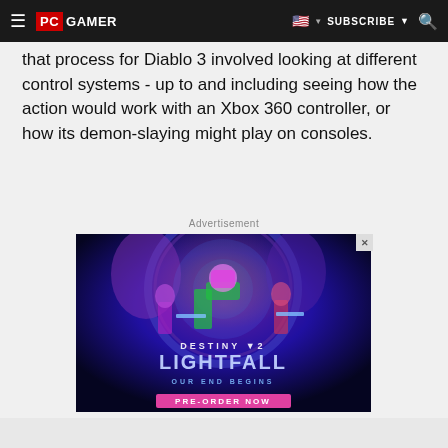PC GAMER | SUBSCRIBE
that process for Diablo 3 involved looking at different control systems - up to and including seeing how the action would work with an Xbox 360 controller, or how its demon-slaying might play on consoles.
Advertisement
[Figure (photo): Destiny 2 Lightfall advertisement banner showing armored characters with text 'DESTINY 2 LIGHTFALL OUR END BEGINS PRE-ORDER NOW' on a dark purple/blue sci-fi background]